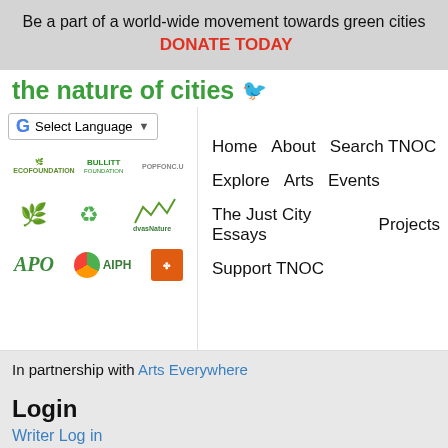Be a part of a world-wide movement towards green cities   DONATE TODAY
the nature of cities 🐦
[Figure (screenshot): Google Translate language selector widget with dropdown arrow]
[Figure (infographic): Navigation menu with links: Home, About, Search TNOC, Explore, Arts, Events, The Just City Essays, Projects, Support TNOC; alongside partner logos panel with Bullitt Foundation, Populus, Árbol, recycling, DyasNature, APO, AIPH, and orange icon logos]
In partnership with Arts Everywhere
Login
Writer Log in